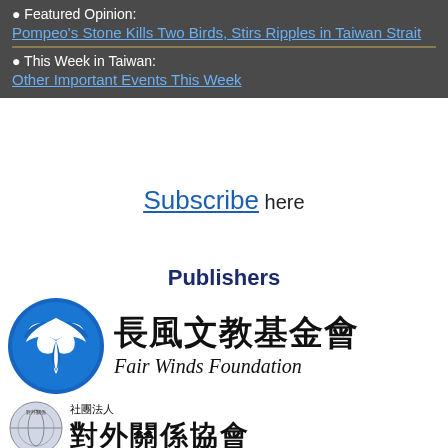● Featured Opinion:
Pompeo's Stone Kills Two Birds, Stirs Ripples in Taiwan Strait
● This Week in Taiwan:
Other Important Events This Week
Subscribe here
Publishers
[Figure (logo): Fair Winds Foundation logo with circular blue bird emblem and Chinese/English text: 長風文教基金會 / Fair Winds Foundation]
[Figure (logo): Second organization logo with circular globe emblem, Chinese text: 社團法人 and partial large Chinese characters 對外關係協會]